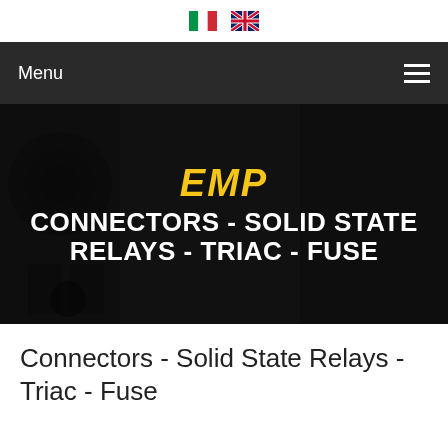[Figure (illustration): Italian and UK flag icons for language selection]
[Figure (screenshot): Dark navigation bar with Menu label and hamburger icon]
[Figure (photo): Dark hero banner with electronic connectors/relays in background showing EMP CONNECTORS - SOLID STATE RELAYS - TRIAC - FUSE text]
Connectors - Solid State Relays - Triac - Fuse